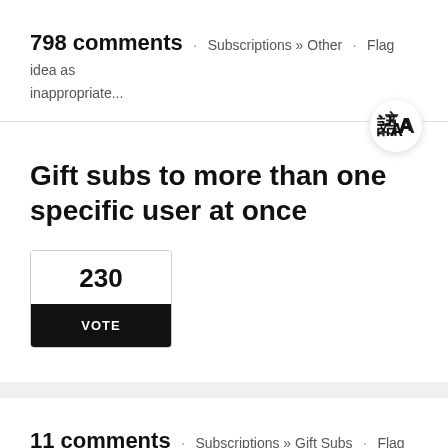798 comments · Subscriptions » Other · Flag idea as inappropriate...
[Figure (other): Translation icon button (language translate symbol) in a circular white button]
Gift subs to more than one specific user at once
230 VOTE
11 comments · Subscriptions » Gift Subs · Flag idea as inappropriate...